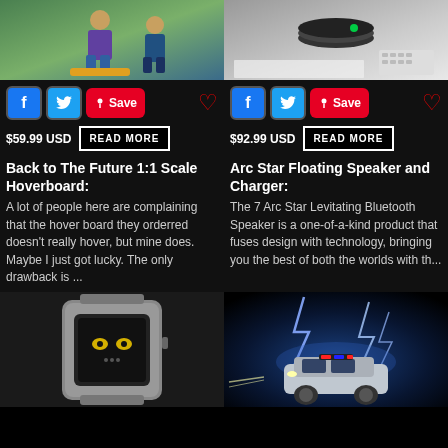[Figure (photo): Back to the Future hoverboard product photo with people outdoors]
[Figure (photo): Arc Star Floating Speaker and Charger product photo on desk with keyboard]
$59.99 USD  READ MORE
Back to The Future 1:1 Scale Hoverboard:
A lot of people here are complaining that the hover board they orderred doesn't really hover, but mine does. Maybe I just got lucky. The only drawback is ...
$92.99 USD  READ MORE
Arc Star Floating Speaker and Charger:
The 7 Arc Star Levitating Bluetooth Speaker is a one-of-a-kind product that fuses design with technology, bringing you the best of both the worlds with th...
[Figure (photo): Metal smartwatch product photo on dark background]
[Figure (photo): DeLorean time machine with lightning bolts movie scene]